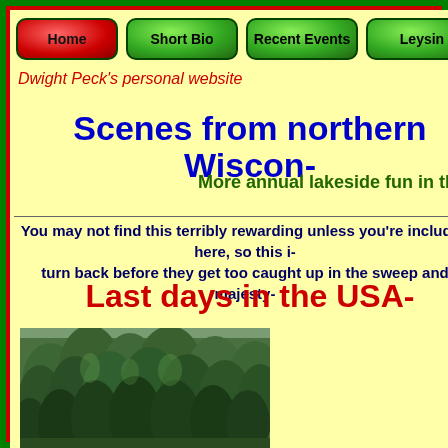Home | Short Bio | Recent Events | Leysin | Villa-
Dwight Peck's personal website
Scenes from northern Wiscon-
More annual lakeside fun in the N-
You may not find this terribly rewarding unless you're included here, so this i- turn back before they get too caught up in the sweep and majesty-
Last days in the USA-
[Figure (photo): Aerial or ground-level view of dense northern Wisconsin evergreen forest (pine/spruce trees)]